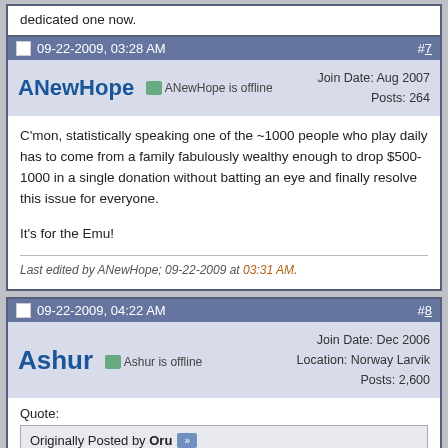dedicated one now.
09-22-2009, 03:28 AM  #7
ANewHope  ANewHope is offline
Join Date: Aug 2007
Posts: 264
C'mon, statistically speaking one of the ~1000 people who play daily has to come from a family fabulously wealthy enough to drop $500-1000 in a single donation without batting an eye and finally resolve this issue for everyone.

It's for the Emu!
Last edited by ANewHope; 09-22-2009 at 03:31 AM.
09-22-2009, 04:22 AM  #8
Ashur  Ashur is offline
Join Date: Dec 2006
Location: Norway Larvik
Posts: 2,600
Quote:
Originally Posted by Oru
Well there is a deal for $800 at our provider for a dedicate 100mbit line. The donations could almost cover that but for now we are also renting 2 server boxes. Probably some servers will be donated in the near future so we can solve this problem finally.